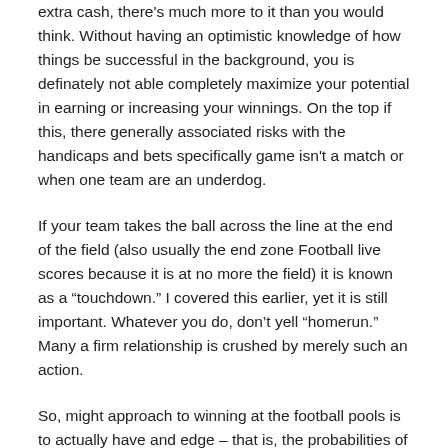extra cash, there's much more to it than you would think. Without having an optimistic knowledge of how things be successful in the background, you is definately not able completely maximize your potential in earning or increasing your winnings. On the top if this, there generally associated risks with the handicaps and bets specifically game isn't a match or when one team are an underdog.
If your team takes the ball across the line at the end of the field (also usually the end zone Football live scores because it is at no more the field) it is known as a “touchdown.” I covered this earlier, yet it is still important. Whatever you do, don’t yell “homerun.” Many a firm relationship is crushed by merely such an action.
So, might approach to winning at the football pools is to actually have and edge – that is, the probabilities of winning are biased slightly in your favour from evens.
So what kind of company or organisation uses Football